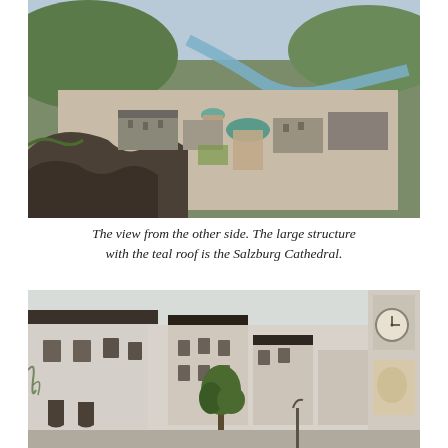[Figure (photo): Aerial view of Salzburg city from the fortress walls, showing the old town, a river curving through the city, green hills in the background, and the large Salzburg Cathedral with its teal/green domed roof prominently in the center.]
The view from the other side. The large structure with the teal roof is the Salzburg Cathedral.
[Figure (photo): Ground-level view inside the Hohensalzburg Fortress courtyard, showing white-plastered medieval buildings with dark wooden shuttered windows, a lone tree in the center, and a church tower with a clock on the right side. Overcast sky above.]